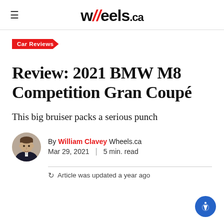wheels.ca
Car Reviews
Review: 2021 BMW M8 Competition Gran Coupé
This big bruiser packs a serious punch
By William Clavey Wheels.ca Mar 29, 2021 | 5 min. read
Article was updated a year ago